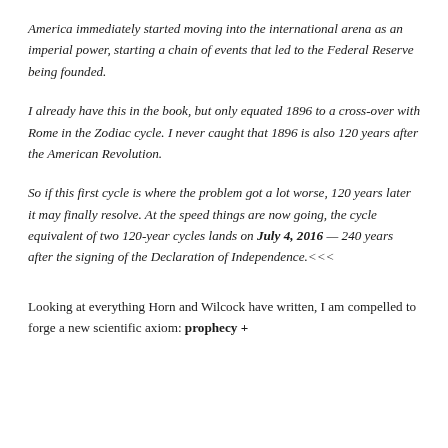America immediately started moving into the international arena as an imperial power, starting a chain of events that led to the Federal Reserve being founded.
I already have this in the book, but only equated 1896 to a cross-over with Rome in the Zodiac cycle. I never caught that 1896 is also 120 years after the American Revolution.
So if this first cycle is where the problem got a lot worse, 120 years later it may finally resolve. At the speed things are now going, the cycle equivalent of two 120-year cycles lands on July 4, 2016 — 240 years after the signing of the Declaration of Independence.<<<
Looking at everything Horn and Wilcock have written, I am compelled to forge a new scientific axiom: prophecy +